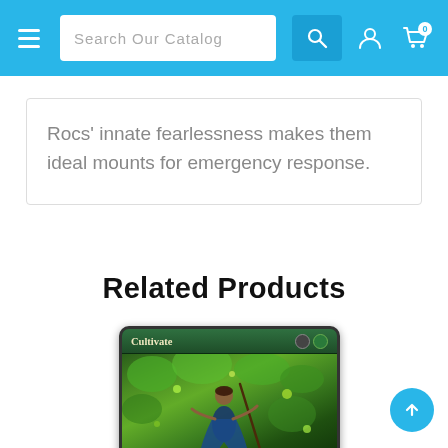Search Our Catalog
Rocs' innate fearlessness makes them ideal mounts for emergency response.
Related Products
[Figure (illustration): Magic: The Gathering card named Cultivate. Sorcery card from M21 set. Art shows a figure in a lush green forest. Card text: Search your library for up to two basic land cards, reveal those cards, and put one onto the battlefield tapped and the other into your hand. Then shuffle your...]